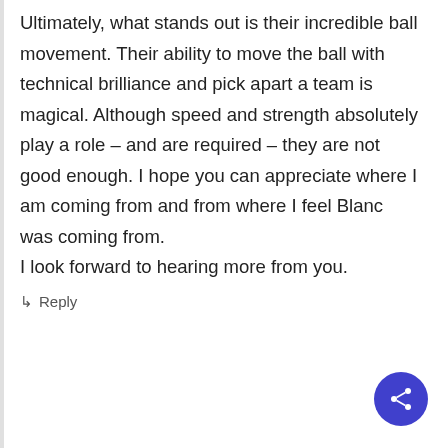Ultimately, what stands out is their incredible ball movement. Their ability to move the ball with technical brilliance and pick apart a team is magical. Although speed and strength absolutely play a role – and are required – they are not good enough. I hope you can appreciate where I am coming from and from where I feel Blanc was coming from.
I look forward to hearing more from you.
↳ Reply